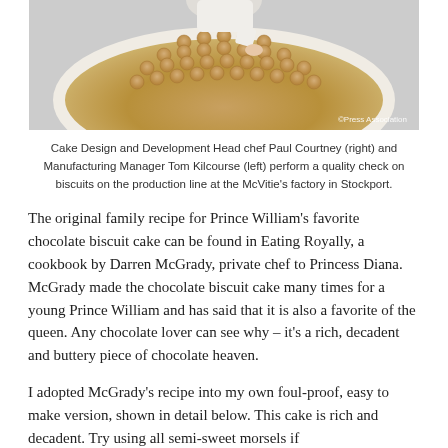[Figure (photo): Aerial-ish view of a large round tray covered in circular biscuits on a production line, with a person in white uniform leaning over it. Watermark reads ©Press Association.]
Cake Design and Development Head chef Paul Courtney (right) and Manufacturing Manager Tom Kilcourse (left) perform a quality check on biscuits on the production line at the McVitie's factory in Stockport.
The original family recipe for Prince William's favorite chocolate biscuit cake can be found in Eating Royally, a cookbook by Darren McGrady, private chef to Princess Diana. McGrady made the chocolate biscuit cake many times for a young Prince William and has said that it is also a favorite of the queen. Any chocolate lover can see why – it's a rich, decadent and buttery piece of chocolate heaven.
I adopted McGrady's recipe into my own foul-proof, easy to make version, shown in detail below. This cake is rich and decadent. Try using all semi-sweet morsels if